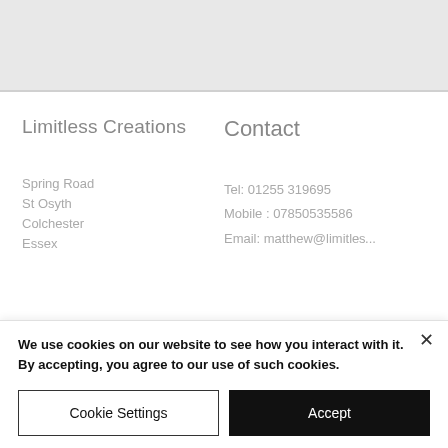[Figure (other): Gray header area at the top of the page (navigation/banner background)]
Limitless Creations
Contact
Spring Road
St Osyth
Colchester
Essex
Tel: 01255 319695
Mobile : 07850535586
Email: matthew@limitl...
We use cookies on our website to see how you interact with it. By accepting, you agree to our use of such cookies.
Cookie Settings
Accept